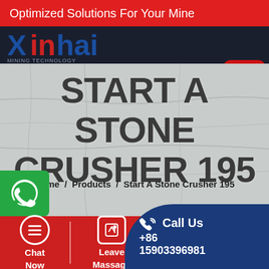Optimized Solutions For Your Mine
[Figure (logo): Xinhai mining technology logo in blue and red on dark background]
START A STONE CRUSHER 195
Home / Products / Start A Stone Crusher 195
[Figure (screenshot): Chat widget with dots menu and red chat popup]
[Figure (photo): WhatsApp icon on green background]
Chat Now
Leave Massage
Call Us +86 15903396981